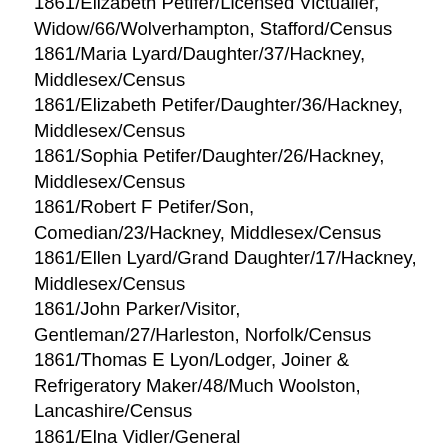1861/Elizabeth Petifer/Licensed Victualler, Widow/66/Wolverhampton, Stafford/Census
1861/Maria Lyard/Daughter/37/Hackney, Middlesex/Census
1861/Elizabeth Petifer/Daughter/36/Hackney, Middlesex/Census
1861/Sophia Petifer/Daughter/26/Hackney, Middlesex/Census
1861/Robert F Petifer/Son, Comedian/23/Hackney, Middlesex/Census
1861/Ellen Lyard/Grand Daughter/17/Hackney, Middlesex/Census
1861/John Parker/Visitor, Gentleman/27/Harleston, Norfolk/Census
1861/Thomas E Lyon/Lodger, Joiner & Refrigeratory Maker/48/Much Woolston, Lancashire/Census
1861/Elna Vidler/General Servant/23/Bermondsey, Surrey/Census
1861/Maria Reason/Barmaid/20/Ramsbury,